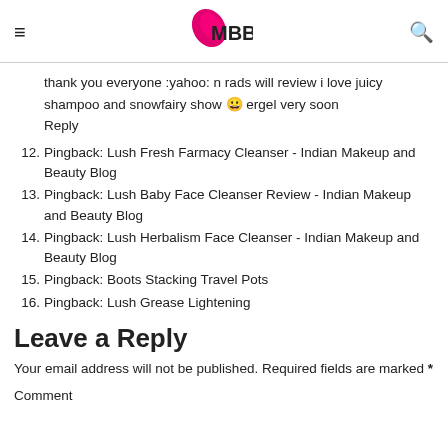IMBB
thank you everyone :yahoo: n rads will review i love juicy shampoo and snowfairy show 😀 ergel very soon
Reply
12. Pingback: Lush Fresh Farmacy Cleanser - Indian Makeup and Beauty Blog
13. Pingback: Lush Baby Face Cleanser Review - Indian Makeup and Beauty Blog
14. Pingback: Lush Herbalism Face Cleanser - Indian Makeup and Beauty Blog
15. Pingback: Boots Stacking Travel Pots
16. Pingback: Lush Grease Lightening
Leave a Reply
Your email address will not be published. Required fields are marked *
Comment